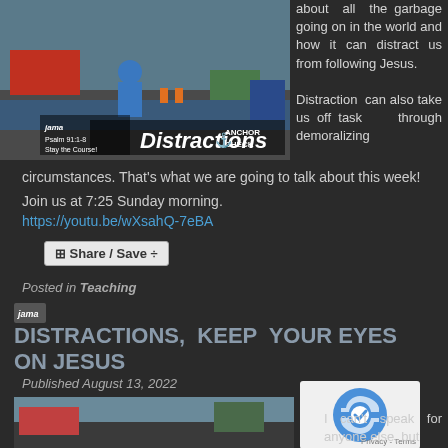[Figure (photo): Racing/drag strip scene with a person in blue shirt, overlaid text reading 'Distractions', 'Psalm 91:1-8 Stay the Course!', JAMA logo, and Anchor Check logo]
about all the garbage going on in the world and how it can distract us from following Jesus. Distraction can also take us off task through demoralizing circumstances. That's what we are going to talk about this week!
Join us at 7:25 Sunday morning.
https://youtu.be/wXsahQ-7eBA
Share / Save
Posted in Teaching
DISTRACTIONS, KEEP YOUR EYES ON JESUS
Published August 13, 2022
[Figure (photo): Partial racing/motorsport scene at bottom of page]
[Figure (other): reCAPTCHA widget with logo and Privacy/Terms links]
I can't speak for anyone else, but